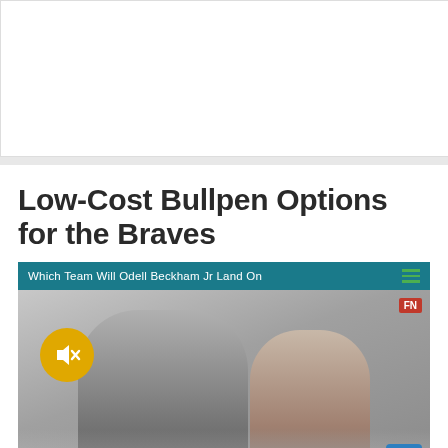[Figure (other): Advertisement block (white rectangle)]
Low-Cost Bullpen Options for the Braves
[Figure (screenshot): Video widget with header 'Which Team Will Odell Beckham Jr Land On', showing two people being interviewed at a stadium, with a mute button, FN badge, and hamburger menu icon.]